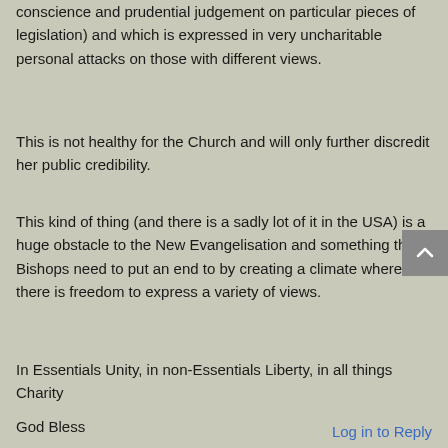conscience and prudential judgement on particular pieces of legislation) and which is expressed in very uncharitable personal attacks on those with different views.
This is not healthy for the Church and will only further discredit her public credibility.
This kind of thing (and there is a sadly lot of it in the USA) is a huge obstacle to the New Evangelisation and something the Bishops need to put an end to by creating a climate where there is freedom to express a variety of views.
In Essentials Unity, in non-Essentials Liberty, in all things Charity
God Bless
Log in to Reply